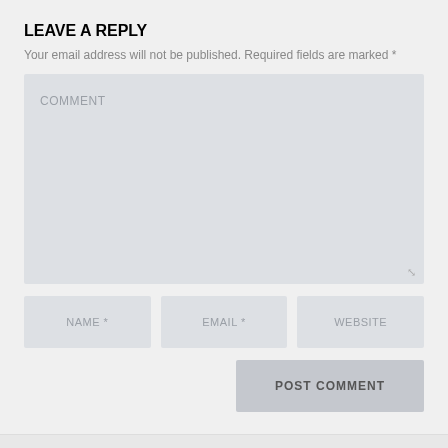LEAVE A REPLY
Your email address will not be published. Required fields are marked *
[Figure (screenshot): Comment text area input box with placeholder text 'COMMENT' and a resize handle in the bottom-right corner]
[Figure (screenshot): Three input fields in a row: NAME *, EMAIL *, WEBSITE]
[Figure (screenshot): POST COMMENT button aligned to the right]